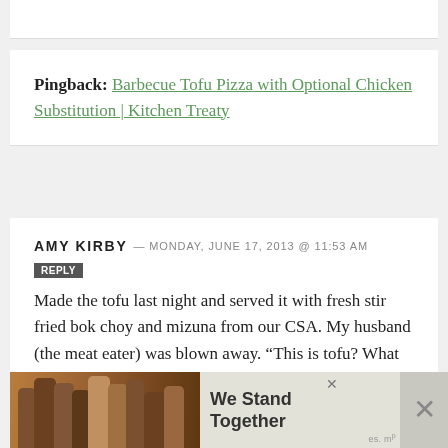Pingback: Barbecue Tofu Pizza with Optional Chicken Substitution | Kitchen Treaty
AMY KIRBY — MONDAY, JUNE 17, 2013 @ 11:53 AM
REPLY
Made the tofu last night and served it with fresh stir fried bok choy and mizuna from our CSA. My husband (the meat eater) was blown away. “This is tofu? What did you do to it? It’s delicious. I’ve
[Figure (photo): Advertisement banner showing people standing together with text 'We Stand Together']